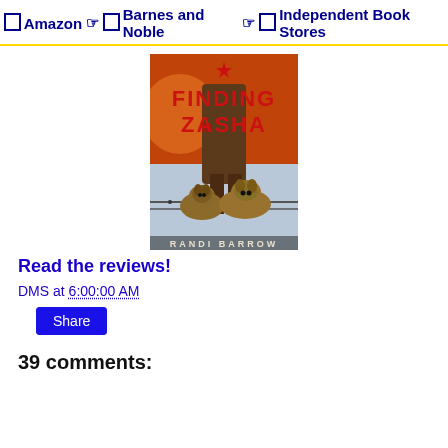☑ Amazon ☑ Barnes and Noble ☑ Independent Book Stores
[Figure (photo): Book cover of 'Finding Zasha' by Randi Barrow — shows two German Shepherd dogs behind barbed wire with a person standing behind them, title text in red block letters, Soviet star at top]
Read the reviews!
DMS at 6:00:00 AM
Share
39 comments: